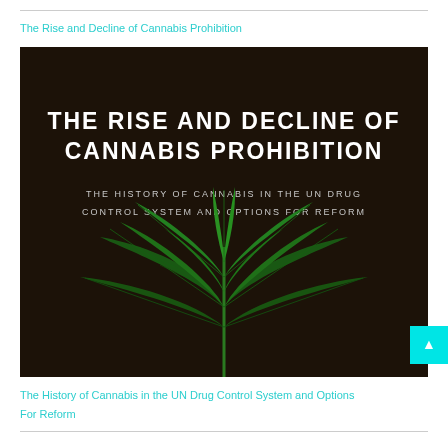The Rise and Decline of Cannabis Prohibition
[Figure (illustration): Book cover with dark brown/black background showing the title 'THE RISE AND DECLINE OF CANNABIS PROHIBITION' in large white bold uppercase text, subtitle 'THE HISTORY OF CANNABIS IN THE UN DRUG CONTROL SYSTEM AND OPTIONS FOR REFORM' in smaller spaced uppercase text, and a cannabis plant illustration at the bottom]
The History of Cannabis in the UN Drug Control System and Options For Reform